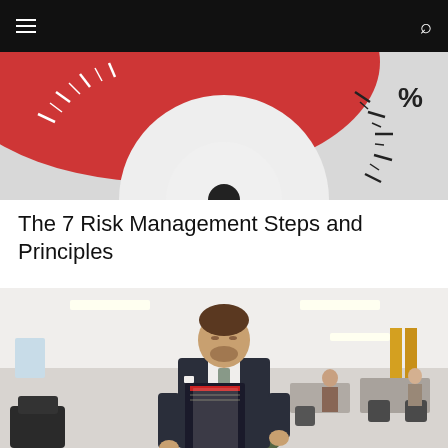[Figure (photo): Close-up of a risk gauge/meter with a red danger zone and white needle, showing a dial-style instrument]
The 7 Risk Management Steps and Principles
[Figure (photo): A young businessman in a dark suit holding documents and a planner in a modern open-plan office environment]